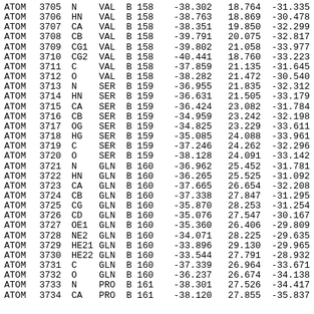| Record | Serial | Name | Res | Chain | ResSeq | X | Y | Z |
| --- | --- | --- | --- | --- | --- | --- | --- | --- |
| ATOM | 3705 | N | VAL | B | 158 | -38.302 | 18.764 | -31.335 |
| ATOM | 3706 | HN | VAL | B | 158 | -38.763 | 18.869 | -30.478 |
| ATOM | 3707 | CA | VAL | B | 158 | -38.351 | 19.850 | -32.299 |
| ATOM | 3708 | CB | VAL | B | 158 | -39.791 | 20.075 | -32.817 |
| ATOM | 3709 | CG1 | VAL | B | 158 | -39.802 | 21.058 | -33.977 |
| ATOM | 3710 | CG2 | VAL | B | 158 | -40.441 | 18.760 | -33.223 |
| ATOM | 3711 | C | VAL | B | 158 | -37.859 | 21.135 | -31.645 |
| ATOM | 3712 | O | VAL | B | 158 | -38.282 | 21.472 | -30.540 |
| ATOM | 3713 | N | SER | B | 159 | -36.955 | 21.835 | -32.312 |
| ATOM | 3714 | HN | SER | B | 159 | -36.631 | 21.505 | -33.179 |
| ATOM | 3715 | CA | SER | B | 159 | -36.424 | 23.082 | -31.784 |
| ATOM | 3716 | CB | SER | B | 159 | -34.959 | 23.242 | -32.198 |
| ATOM | 3717 | OG | SER | B | 159 | -34.825 | 23.229 | -33.611 |
| ATOM | 3718 | HG | SER | B | 159 | -35.085 | 24.088 | -33.961 |
| ATOM | 3719 | C | SER | B | 159 | -37.246 | 24.262 | -32.296 |
| ATOM | 3720 | O | SER | B | 159 | -38.128 | 24.091 | -33.142 |
| ATOM | 3721 | N | GLN | B | 160 | -36.962 | 25.452 | -31.781 |
| ATOM | 3722 | HN | GLN | B | 160 | -36.265 | 25.525 | -31.092 |
| ATOM | 3723 | CA | GLN | B | 160 | -37.665 | 26.654 | -32.208 |
| ATOM | 3724 | CB | GLN | B | 160 | -37.338 | 27.847 | -31.295 |
| ATOM | 3725 | CG | GLN | B | 160 | -35.870 | 28.253 | -31.254 |
| ATOM | 3726 | CD | GLN | B | 160 | -35.076 | 27.547 | -30.167 |
| ATOM | 3727 | OE1 | GLN | B | 160 | -35.360 | 26.406 | -29.809 |
| ATOM | 3728 | NE2 | GLN | B | 160 | -34.071 | 28.225 | -29.635 |
| ATOM | 3729 | HE21 | GLN | B | 160 | -33.896 | 29.130 | -29.965 |
| ATOM | 3730 | HE22 | GLN | B | 160 | -33.544 | 27.791 | -28.932 |
| ATOM | 3731 | C | GLN | B | 160 | -37.339 | 26.964 | -33.671 |
| ATOM | 3732 | O | GLN | B | 160 | -36.237 | 26.674 | -34.138 |
| ATOM | 3733 | N | PRO | B | 161 | -38.301 | 27.526 | -34.417 |
| ATOM | 3734 | CA | PRO | B | 161 | -38.120 | 27.855 | -35.837 |